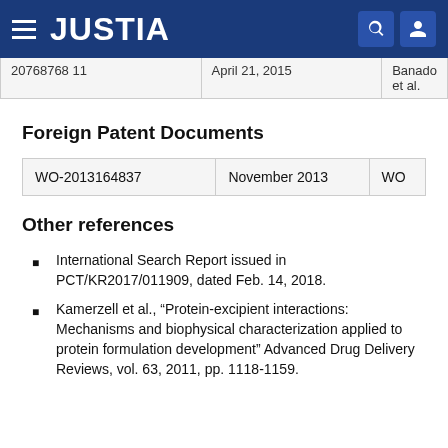JUSTIA
|  |  |  |
| --- | --- | --- |
| 20768768 11 | April 21, 2015 | Banado et al. |
Foreign Patent Documents
|  |  |  |
| --- | --- | --- |
| WO-2013164837 | November 2013 | WO |
Other references
International Search Report issued in PCT/KR2017/011909, dated Feb. 14, 2018.
Kamerzell et al., “Protein-excipient interactions: Mechanisms and biophysical characterization applied to protein formulation development” Advanced Drug Delivery Reviews, vol. 63, 2011, pp. 1118-1159.